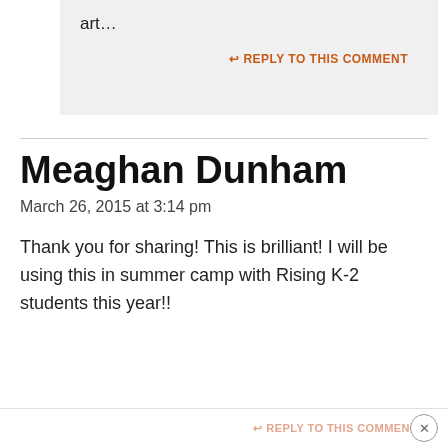art…
↩ REPLY TO THIS COMMENT
Meaghan Dunham
March 26, 2015 at 3:14 pm
Thank you for sharing! This is brilliant! I will be using this in summer camp with Rising K-2 students this year!!
↩ REPLY TO THIS COMMENT